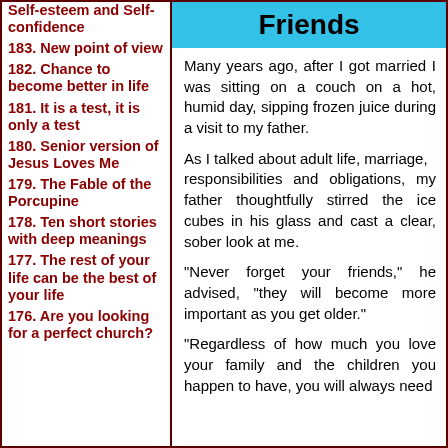Self-esteem and Self-confidence
183. New point of view
182. Chance to become better in life
181. It is a test, it is only a test
180. Senior version of Jesus Loves Me
179. The Fable of the Porcupine
178. Ten short stories with deep meanings
177. The rest of your life can be the best of your life
176. Are you looking for a perfect church?
Friends
Many years ago, after I got married I was sitting on a couch on a hot, humid day, sipping frozen juice during a visit to my father.
As I talked about adult life, marriage, responsibilities and obligations, my father thoughtfully stirred the ice cubes in his glass and cast a clear, sober look at me.
"Never forget your friends," he advised, "they will become more important as you get older."
"Regardless of how much you love your family and the children you happen to have, you will always need